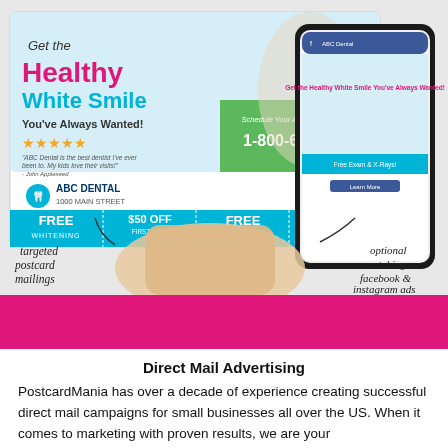[Figure (illustration): A dental marketing postcard showing 'Get the Healthy White Smile You've Always Wanted!' with a father and child smiling, ABC Dental branding, phone number 1-800-628-1804, and coupon offers (FREE WHITENING, $50 OFF FIRST VISIT, FREE EXAM & X-RAYS, FREE TOOTHBRUSH). A hand holds the postcard. A smartphone shows a matching Facebook/Instagram ad. Handwritten annotations point to 'targeted postcard mailings' and 'optional matching facebook & instagram ads'.]
Direct Mail Advertising
PostcardMania has over a decade of experience creating successful direct mail campaigns for small businesses all over the US. When it comes to marketing with proven results, we are your